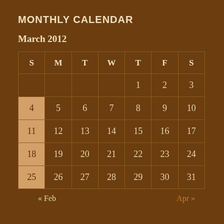MONTHLY CALENDAR
March 2012
| S | M | T | W | T | F | S |
| --- | --- | --- | --- | --- | --- | --- |
|  |  |  |  | 1 | 2 | 3 |
| 4 | 5 | 6 | 7 | 8 | 9 | 10 |
| 11 | 12 | 13 | 14 | 15 | 16 | 17 |
| 18 | 19 | 20 | 21 | 22 | 23 | 24 |
| 25 | 26 | 27 | 28 | 29 | 30 | 31 |
« Feb    Apr »